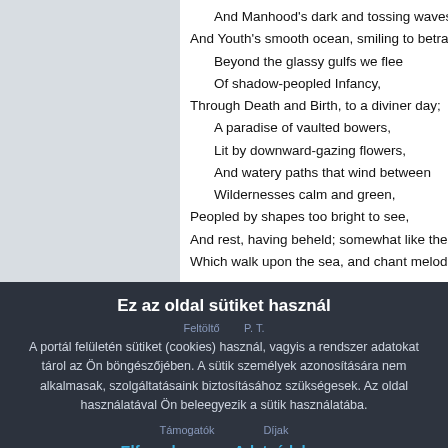And Manhood's dark and tossing waves,
And Youth's smooth ocean, smiling to betray:
    Beyond the glassy gulfs we flee
    Of shadow-peopled Infancy,
Through Death and Birth, to a diviner day;
    A paradise of vaulted bowers,
    Lit by downward-gazing flowers,
    And watery paths that wind between
    Wildernesses calm and green,
Peopled by shapes too bright to see,
And rest, having beheld; somewhat like thee;
Which walk upon the sea, and chant melodiously!
Ez az oldal sütiket használ
Feltöltő    P. T.
A portál felületén sütiket (cookies) használ, vagyis a rendszer adatokat tárol az Ön böngészőjében. A sütik személyek azonosítására nem alkalmasak, szolgáltatásaink biztosításához szükségesek. Az oldal használatával Ön beleegyezik a sütik használatába.
Támogatók    Díjak
Elfogadom
Adatvédelem